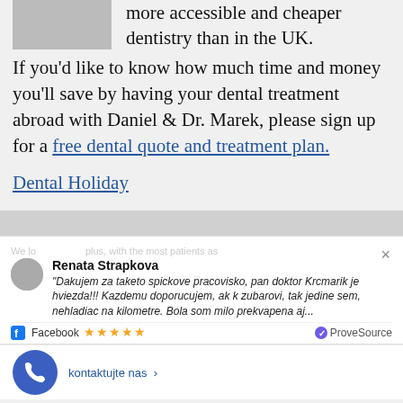[Figure (photo): Gray avatar/photo placeholder box in top left]
more accessible and cheaper dentistry than in the UK. If you'd like to know how much time and money you'll save by having your dental treatment abroad with Daniel & Dr. Marek, please sign up for a free dental quote and treatment plan.
Dental Holiday
Renata Strapkova
"Dakujem za taketo spickove pracovisko, pan doktor Krcmarik je hviezda!!! Kazdemu doporucujem, ak k zubarovi, tak jedine sem, nehladiac na kilometre. Bola som milo prekvapena aj...
Facebook ★★★★★ ProveSource
kontaktujte nas >